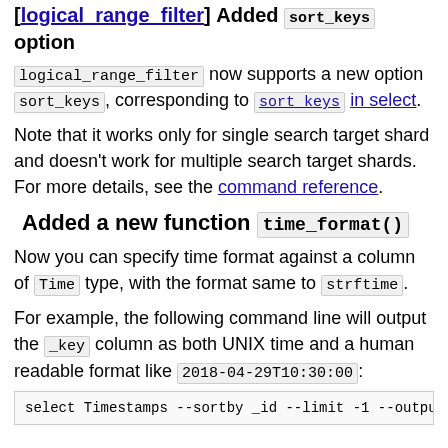[logical_range_filter] Added sort_keys option
logical_range_filter now supports a new option sort_keys, corresponding to sort_keys in select.
Note that it works only for single search target shard and doesn't work for multiple search target shards. For more details, see the command reference.
Added a new function time_format()
Now you can specify time format against a column of Time type, with the format same to strftime.
For example, the following command line will output the _key column as both UNIX time and a human readable format like 2018-04-29T10:30:00:
select Timestamps --sortby _id --limit -1 --output_colu